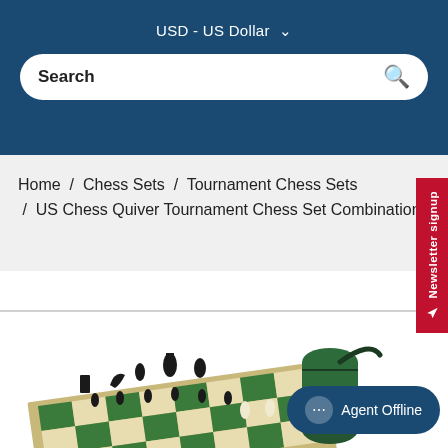USD - US Dollar
Search
Home / Chess Sets / Tournament Chess Sets / US Chess Quiver Tournament Chess Set Combination
[Figure (screenshot): Newsletter signup tab on right side, red vertical tab with white text and send icon]
[Figure (photo): Chess set product photo showing a green vinyl chess board with black and white chess pieces set up, and a green cylindrical carrying bag in the background]
Agent Offline